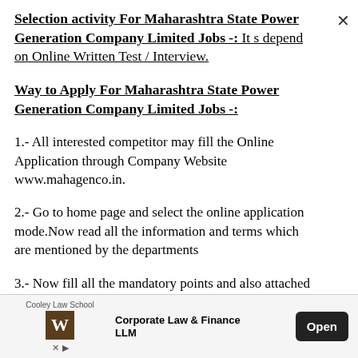Selection activity For Maharashtra State Power Generation Company Limited Jobs -: It s depend on Online Written Test / Interview.
Way to Apply For Maharashtra State Power Generation Company Limited Jobs -:
1.- All interested competitor may fill the Online Application through Company Website www.mahagenco.in.
2.- Go to home page and select the online application mode.Now read all the information and terms which are mentioned by the departments
3.- Now fill all the mandatory points and also attached the certificates and required documents, if required All the attache
[Figure (other): Advertisement banner for Cooley Law School Corporate Law & Finance LLM with Open button]